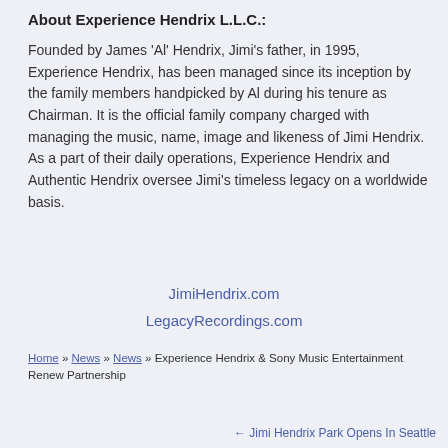About Experience Hendrix L.L.C.:
Founded by James 'Al' Hendrix, Jimi's father, in 1995, Experience Hendrix, has been managed since its inception by the family members handpicked by Al during his tenure as Chairman. It is the official family company charged with managing the music, name, image and likeness of Jimi Hendrix. As a part of their daily operations, Experience Hendrix and Authentic Hendrix oversee Jimi's timeless legacy on a worldwide basis.
JimiHendrix.com
LegacyRecordings.com
Home » News » News » Experience Hendrix & Sony Music Entertainment Renew Partnership
← Jimi Hendrix Park Opens In Seattle